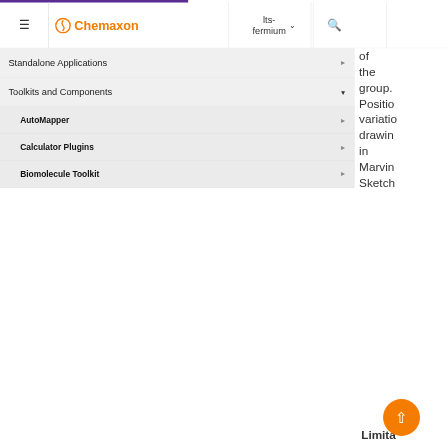Chemaxon | lts-fermium
Standalone Applications
Toolkits and Components
AutoMapper
Calculator Plugins
Biomolecule Toolkit
ChemAxon Synergy
Document to Structure
JChem Base
JChem Base Administration
of the group. Position variation drawing in MarvinSketch is described here
Limita